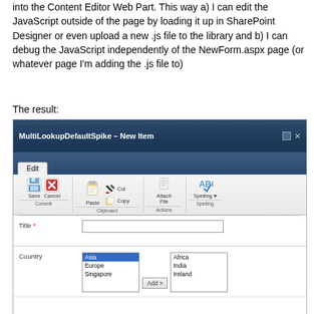into the Content Editor Web Part. This way a) I can edit the JavaScript outside of the page by loading it up in SharePoint Designer or even upload a new .js file to the library and b) I can debug the JavaScript independently of the NewForm.aspx page (or whatever page I'm adding the .js file to)
The result:
[Figure (screenshot): Screenshot of a SharePoint 'MultiLookupDefaultSpike - New Item' dialog showing a ribbon with Save, Cancel, Paste, Cut, Copy, Attach File, and Spelling buttons organized in Commit, Clipboard, Actions, and Spelling groups. Below the ribbon is a form with a Title field (required, text input) and a Country field with a multi-select listbox showing Asia (selected), Europe, Singapore on the left, an Add > button in the middle, and Africa, India, Ireland on the right.]